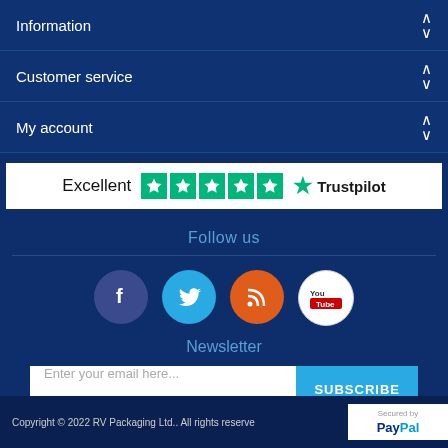Information
Customer service
My account
[Figure (logo): Trustpilot widget showing 'Excellent' rating with 5 green stars and Trustpilot logo]
Follow us
[Figure (illustration): Social media icons: Facebook (dark blue circle), Twitter (light blue circle), RSS (orange circle), YouTube (white circle)]
Newsletter
Enter your email here...  SUBSCRIBE
Copyright © 2022 RV Packaging Ltd.. All rights reserved